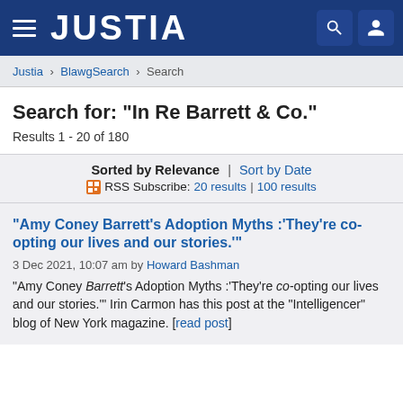JUSTIA
Justia › BlawgSearch › Search
Search for: "In Re Barrett & Co."
Results 1 - 20 of 180
Sorted by Relevance | Sort by Date
RSS Subscribe: 20 results | 100 results
"Amy Coney Barrett's Adoption Myths :'They're co-opting our lives and our stories.'"
3 Dec 2021, 10:07 am by Howard Bashman
"Amy Coney Barrett's Adoption Myths :'They're co-opting our lives and our stories.'" Irin Carmon has this post at the "Intelligencer" blog of New York magazine. [read post]